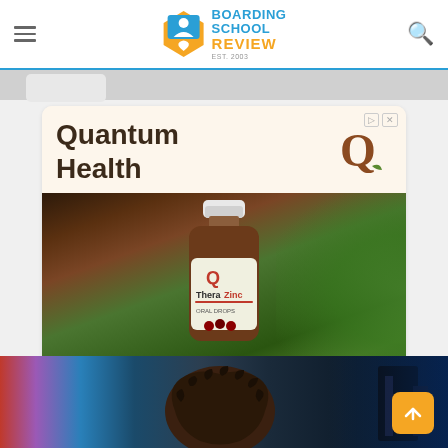Boarding School Review — EST. 2003
[Figure (screenshot): Quantum Health advertisement banner featuring a supplement bottle (TheraZinc) in front of green foliage, with Shop Now button and Quantum Health Q logo]
[Figure (photo): Bottom strip showing partial view of a person with curly hair and equipment in background]